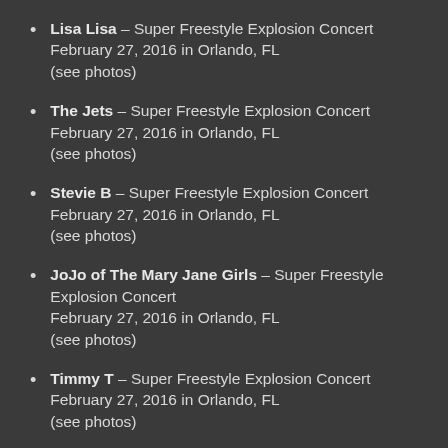Lisa Lisa – Super Freestyle Explosion Concert February 27, 2016 in Orlando, FL (see photos)
The Jets – Super Freestyle Explosion Concert February 27, 2016 in Orlando, FL (see photos)
Stevie B – Super Freestyle Explosion Concert February 27, 2016 in Orlando, FL (see photos)
JoJo of The Mary Jane Girls – Super Freestyle Explosion Concert February 27, 2016 in Orlando, FL (see photos)
Timmy T – Super Freestyle Explosion Concert February 27, 2016 in Orlando, FL (see photos)
JJ Fad – Super Freestyle Explosion Concert